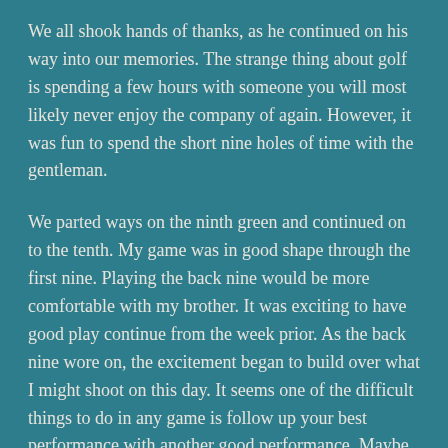We all shook hands of thanks, as he continued on his way into our memories. The strange thing about golf is spending a few hours with someone you will most likely never enjoy the company of again. However, it was fun to spend the short nine holes of time with the gentleman.
We parted ways on the ninth green and continued on to the tenth. My game was in good shape through the first nine. Playing the back nine would be more comfortable with my brother. It was exciting to have good play continue from the week prior. As the back nine wore on, the excitement began to build over what I might shoot on this day. It seems one of the difficult things to do in any game is follow up your best performance with another good performance. Maybe we all battle wonderment over whether the good day was a fluke, whether we can go out and play well again. There were questions of wonder in my mind. Hoping the game played in the